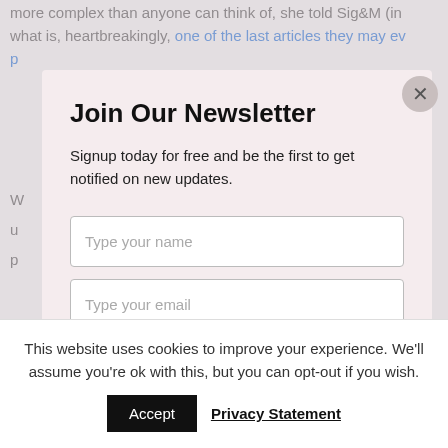more complex than anyone can think of, she told Sig&M (in what is, heartbreakingly, one of the last articles they may ev p
W u p
D e s a le t
Join Our Newsletter
Signup today for free and be the first to get notified on new updates.
Type your name
Type your email
SUBSCRIBE NOW
This website uses cookies to improve your experience. We'll assume you're ok with this, but you can opt-out if you wish.
Accept
Privacy Statement